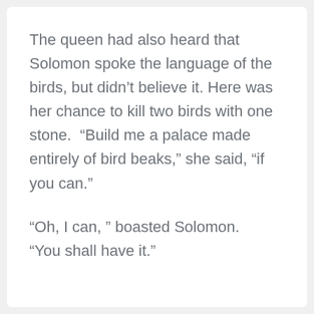The queen had also heard that Solomon spoke the language of the birds, but didn't believe it. Here was her chance to kill two birds with one stone.  “Build me a palace made entirely of bird beaks,” she said, “if you can.”
“Oh, I can, ” boasted Solomon.  “You shall have it.”